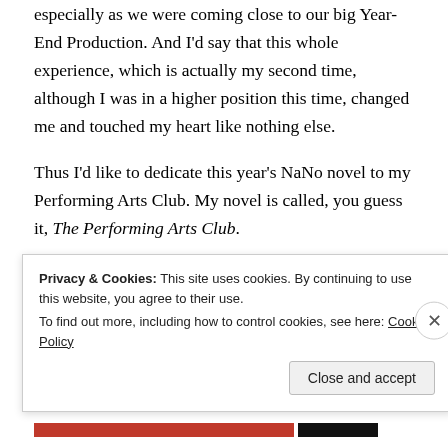especially as we were coming close to our big Year-End Production. And I'd say that this whole experience, which is actually my second time, although I was in a higher position this time, changed me and touched my heart like nothing else.
Thus I'd like to dedicate this year's NaNo novel to my Performing Arts Club. My novel is called, you guess it, The Performing Arts Club.
Anyway, I know I have a lot to do now and those who are doing NaNo can relate, therefore, I'd just like to
Privacy & Cookies: This site uses cookies. By continuing to use this website, you agree to their use.
To find out more, including how to control cookies, see here: Cookie Policy